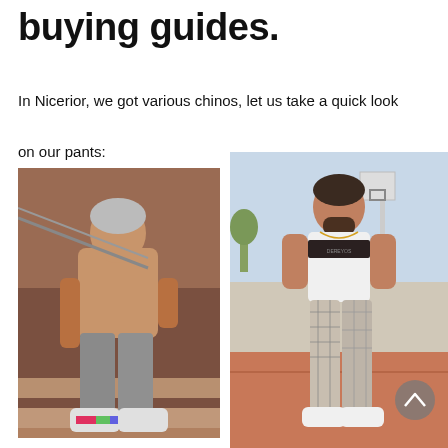buying guides.
In Nicerior, we got various chinos, let us take a quick look on our pants:
[Figure (photo): Man with tattoos sitting on brick stairs wearing grey slim chino pants and colorful sneakers, shirtless]
[Figure (photo): Man standing on a basketball court wearing white t-shirt with DEREYOS branding, plaid/checked slim chino pants and white sneakers, with a scroll-up button overlay]